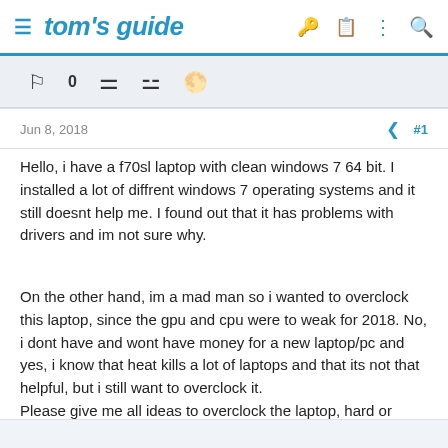tom's guide
[Figure (screenshot): Icon strip with forum-related icons (flag, number 0, user icons, helicopter/other icon)]
Jun 8, 2018
#1
Hello, i have a f70sl laptop with clean windows 7 64 bit. I installed a lot of diffrent windows 7 operating systems and it still doesnt help me. I found out that it has problems with drivers and im not sure why.
On the other hand, im a mad man so i wanted to overclock this laptop, since the gpu and cpu were to weak for 2018. No, i dont have and wont have money for a new laptop/pc and yes, i know that heat kills a lot of laptops and that its not that helpful, but i still want to overclock it.
Please give me all ideas to overclock the laptop, hard or easy.